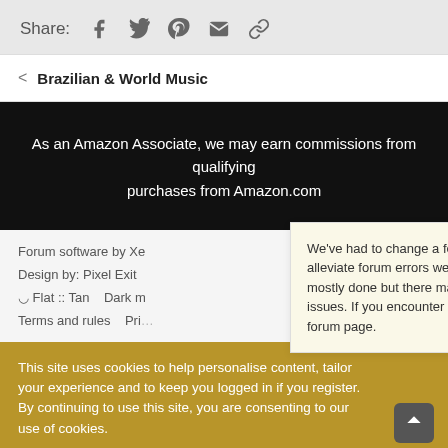Share: [social icons: Facebook, Twitter, Pinterest, Email, Link]
< Brazilian & World Music
As an Amazon Associate, we may earn commissions from qualifying purchases from Amazon.com
Forum software by Xe
Design by: Pixel Exit
⊙ Flat :: Tan   Dark m
Terms and rules   Pri...
We've had to change a few server modules to alleviate forum errors we've been having. Work is mostly done but there may still be a few remaining issues. If you encounter an error, try reloading the forum page.
This site uses cookies to help personalise content, tailor your experience and to keep you logged in if you register.
By continuing to use this site, you are consenting to our use of cookies.
✓ Accept
Learn more...